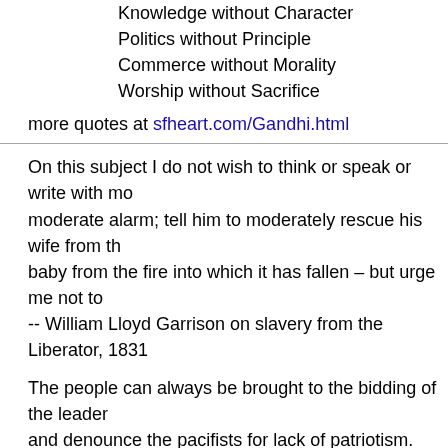Knowledge without Character
Politics without Principle
Commerce without Morality
Worship without Sacrifice
more quotes at sfheart.com/Gandhi.html
On this subject I do not wish to think or speak or write with mo moderate alarm; tell him to moderately rescue his wife from th baby from the fire into which it has fallen – but urge me not to -- William Lloyd Garrison on slavery from the Liberator, 1831
The people can always be brought to the bidding of the leader and denounce the pacifists for lack of patriotism. -- Nazi war criminal Hermann Goering (at the Nuremberg Trial
None are more hopelessly enslaved than those who falsely be -- Johann Wolfgang von Goethe, 1749-1832
Theories have four stages of acceptance: i) this is worthless n this is true, but quite unimportant; iv) I always said so. -- J.B.S. Haldane
Inspiration is not garnered from litanies of what is flawed; it res recover, reimagine, and reconsider. Healing the wounds of the